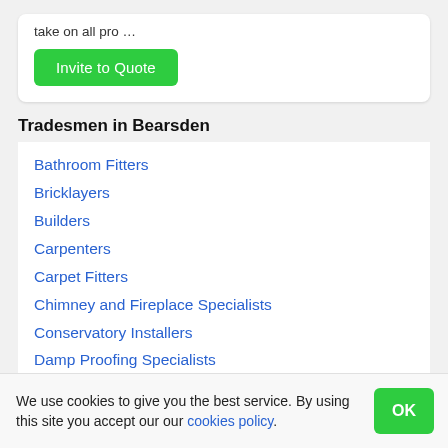take on all pro …
Invite to Quote
Tradesmen in Bearsden
Bathroom Fitters
Bricklayers
Builders
Carpenters
Carpet Fitters
Chimney and Fireplace Specialists
Conservatory Installers
Damp Proofing Specialists
Decorators
Demolition Contractors
We use cookies to give you the best service. By using this site you accept our our cookies policy.